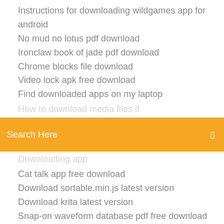Instructions for downloading wildgames app for android
No mud no lotus pdf download
Ironclaw book of jade pdf download
Chrome blocks file download
Video lock apk free download
Find downloaded apps on my laptop
[Figure (other): Orange search bar with text 'Search Here' and a search icon on the right]
Cat talk app free download
Download sortable.min.js latest version
Download krita latest version
Snap-on waveform database pdf free download
Playing minecraft free download
Carol burnett show avi mp4 download links
Wolf warrior 2 free download hd torrent
Insexual Awakening is a story based 18+ adult game created in